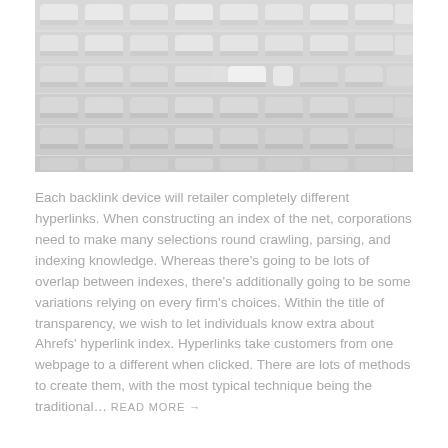[Figure (photo): A photo of many white or light gray chairs/seats arranged in rows, viewed from a slightly elevated angle. The seats appear to be in an auditorium or stadium setting, with a soft, muted gray-white color palette.]
Each backlink device will retailer completely different hyperlinks. When constructing an index of the net, corporations need to make many selections round crawling, parsing, and indexing knowledge. Whereas there's going to be lots of overlap between indexes, there's additionally going to be some variations relying on every firm's choices. Within the title of transparency, we wish to let individuals know extra about Ahrefs' hyperlink index. Hyperlinks take customers from one webpage to a different when clicked. There are lots of methods to create them, with the most typical technique being the traditional… READ MORE →